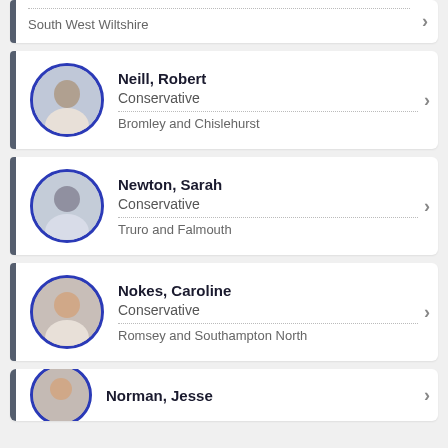South West Wiltshire
Neill, Robert | Conservative | Bromley and Chislehurst
Newton, Sarah | Conservative | Truro and Falmouth
Nokes, Caroline | Conservative | Romsey and Southampton North
Norman, Jesse